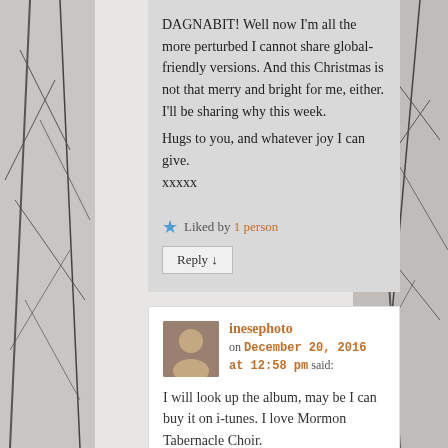DAGNABIT! Well now I'm all the more perturbed I cannot share global-friendly versions. And this Christmas is not that merry and bright for me, either. I'll be sharing why this week.
Hugs to you, and whatever joy I can give.
xxxxx
Liked by 1 person
Reply ↓
inesephoto
on December 20, 2016 at 12:58 pm said:
I will look up the album, may be I can buy it on i-tunes. I love Mormon Tabernacle Choir.
I am sorry for whatever is going on.
Hope everything will work out. xxxx